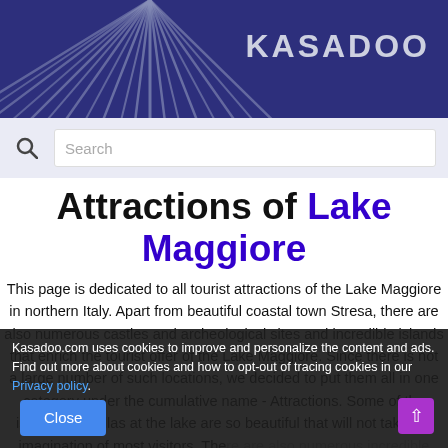KASADOO
[Figure (screenshot): KASADOO website header with dark navy background, sunburst ray pattern on left, and search bar below]
Attractions of Lake Maggiore
This page is dedicated to all tourist attractions of the Lake Maggiore in northern Italy. Apart from beautiful coastal town Stresa, there are also numerous castles and archeological sites and incredible islands that enrich the tourist offer of the Lake Maggiore. Since there is not a large number of such locations, we decided to put them all in one category under the cumulative name - Attractions. Some of the islands and villas at the lake are so beautiful that will not take the imagination of most visitors. There are also numerous incredible gardens, made in Italian and English style that will take your breath
Kasadoo.com uses cookies to improve and personalize the content and ads. Find out more about cookies and how to opt-out of tracing cookies in our Privacy policy.